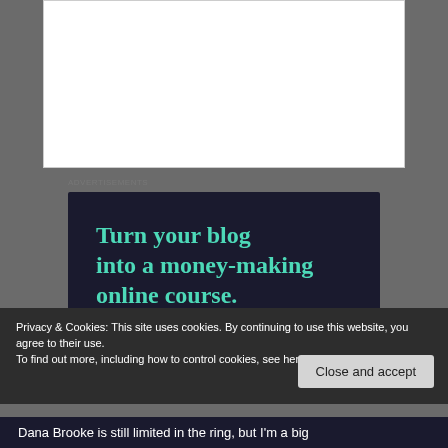[Figure (other): White empty content area box at the top of the page]
Advertisements
[Figure (infographic): Dark navy advertisement banner for Sensei with teal text reading 'Turn your blog into a money-making online course.' with a teal 'Learn More' button and the Sensei logo in the bottom right corner]
Privacy & Cookies: This site uses cookies. By continuing to use this website, you agree to their use.
To find out more, including how to control cookies, see here: Cookie Policy
Close and accept
Dana Brooke is still limited in the ring, but I'm a big